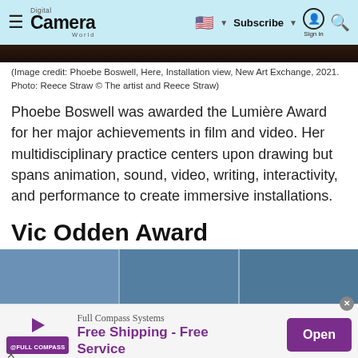Digital Camera World — Subscribe | Sign in
[Figure (photo): Dark toned installation view photograph strip]
(Image credit: Phoebe Boswell, Here, Installation view, New Art Exchange, 2021. Photo: Reece Straw © The artist and Reece Straw)
Phoebe Boswell was awarded the Lumière Award for her major achievements in film and video. Her multidisciplinary practice centers upon drawing but spans animation, sound, video, writing, interactivity, and performance to create immersive installations.
Vic Odden Award
[Figure (photo): Blue toned installation image with three panels]
[Figure (other): Advertisement banner: Full Compass Systems — Free Shipping - Free Service, Open button]